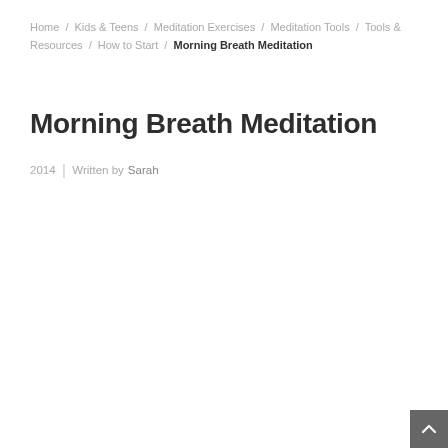Home / Kids & Teens / Meditation Exercises / Meditation Tools / Tools & Resources / How to Start / Morning Breath Meditation
Morning Breath Meditation
2014 | Written by Sarah